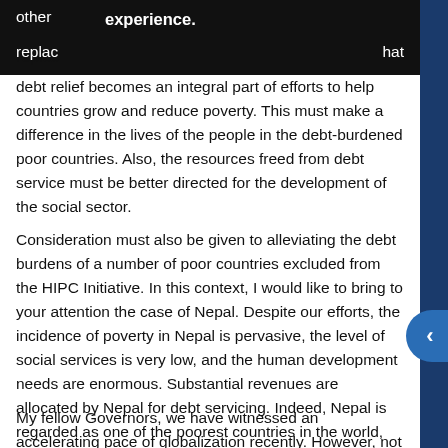other experience. replac[REDACTED]hat debt relief becomes an integral part of efforts to help countries grow and reduce poverty. This must make a difference in the lives of the people in the debt-burdened poor countries. Also, the resources freed from debt service must be better directed for the development of the social sector.
Consideration must also be given to alleviating the debt burdens of a number of poor countries excluded from the HIPC Initiative. In this context, I would like to bring to your attention the case of Nepal. Despite our efforts, the incidence of poverty in Nepal is pervasive, the level of social services is very low, and the human development needs are enormous. Substantial revenues are allocated by Nepal for debt servicing. Indeed, Nepal is regarded as one of the poorest countries in the world, yet it is not eligible for this initiative.
My fellow Governors, we have witnessed an accelerating pace of globalization recently. However, not all countries have benefited from this process. As